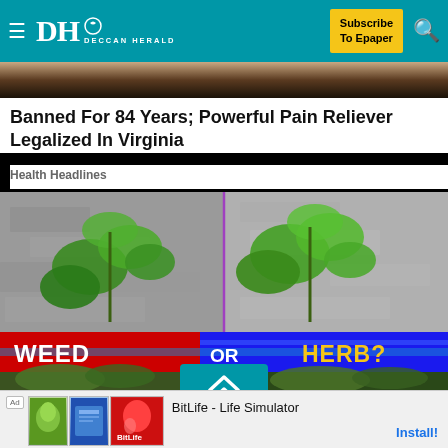DH DECCAN HERALD | Subscribe To Epaper
[Figure (photo): Dark background strip from top image]
Banned For 84 Years; Powerful Pain Reliever Legalized In Virginia
Health Headlines
[Figure (photo): Split image showing green plant against stone wall with WEED OR HERB? banner overlay, and lower plant images with teal scroll-up button]
[Figure (photo): Ad banner: BitLife - Life Simulator app advertisement with Install button]